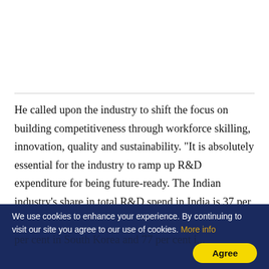He called upon the industry to shift the focus on building competitiveness through workforce skilling, innovation, quality and sustainability. "It is absolutely essential for the industry to ramp up R&D expenditure for being future-ready. The Indian industry's share in total R&D spend in India is 37 per cent, as against 80 per cent in South Korea and 77 per cent ...
We use cookies to enhance your experience. By continuing to visit our site you agree to our use of cookies. More info